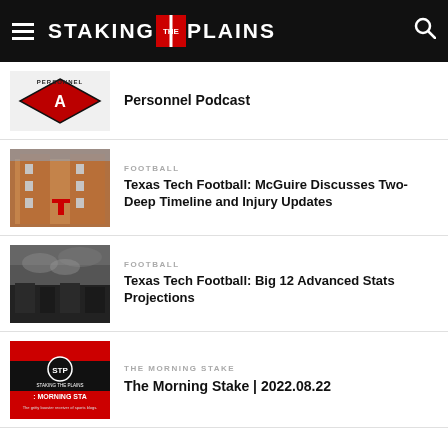STAKING THE PLAINS
Personnel Podcast
FOOTBALL
Texas Tech Football: McGuire Discusses Two-Deep Timeline and Injury Updates
FOOTBALL
Texas Tech Football: Big 12 Advanced Stats Projections
THE MORNING STAKE
The Morning Stake | 2022.08.22